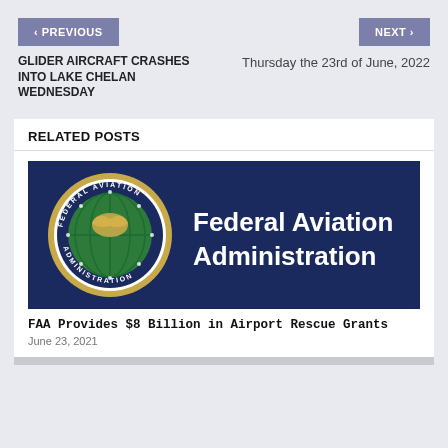< PREVIOUS | NEXT >
GLIDER AIRCRAFT CRASHES INTO LAKE CHELAN WEDNESDAY
Thursday the 23rd of June, 2022
RELATED POSTS
[Figure (logo): Federal Aviation Administration logo banner with circular FAA seal on dark navy background and white bold text reading 'Federal Aviation Administration']
FAA Provides $8 Billion in Airport Rescue Grants
June 23, 2021